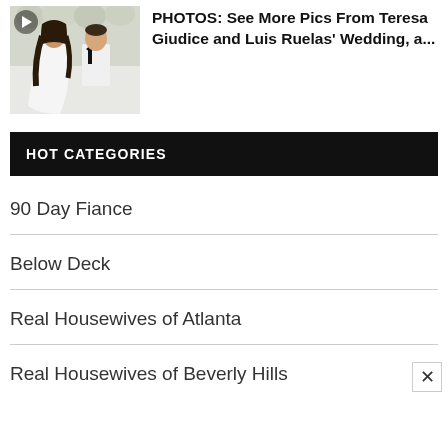[Figure (photo): Photo of Teresa Giudice and Luis Ruelas at their wedding; woman in white gown, man in white tuxedo with bow tie, floral background]
PHOTOS: See More Pics From Teresa Giudice and Luis Ruelas' Wedding, a...
HOT CATEGORIES
90 Day Fiance
Below Deck
Real Housewives of Atlanta
Real Housewives of Beverly Hills